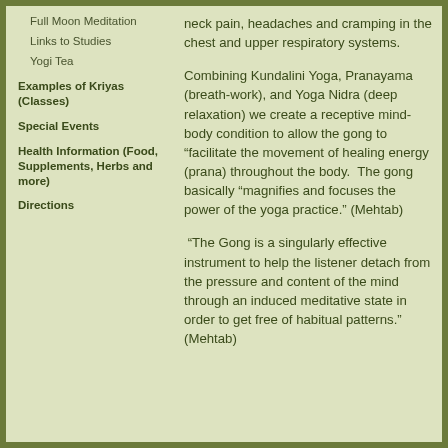Full Moon Meditation
Links to Studies
Yogi Tea
Examples of Kriyas (Classes)
Special Events
Health Information (Food, Supplements, Herbs and more)
Directions
neck pain, headaches and cramping in the chest and upper respiratory systems.
Combining Kundalini Yoga, Pranayama (breath-work), and Yoga Nidra (deep relaxation) we create a receptive mind-body condition to allow the gong to “facilitate the movement of healing energy (prana) throughout the body.  The gong basically “magnifies and focuses the power of the yoga practice.” (Mehtab)
“The Gong is a singularly effective instrument to help the listener detach from the pressure and content of the mind through an induced meditative state in order to get free of habitual patterns.” (Mehtab)